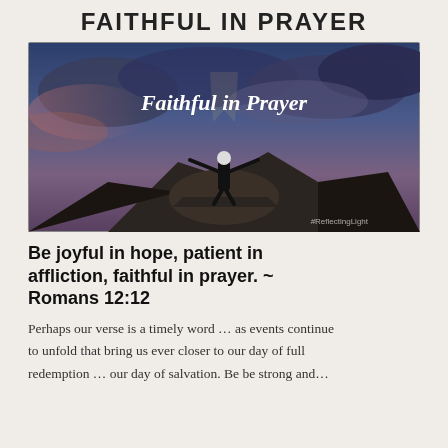FAITHFUL IN PRAYER
[Figure (illustration): A person standing on a rocky hilltop with arms outstretched against a dramatic cloudy sky at dusk, with white text overlay reading 'Faithful in Prayer' and watermark '#ReflectingLight']
Be joyful in hope, patient in affliction, faithful in prayer. ~ Romans 12:12
Perhaps our verse is a timely word … as events continue to unfold that bring us ever closer to our day of full redemption … our day of salvation. Be be strong and…